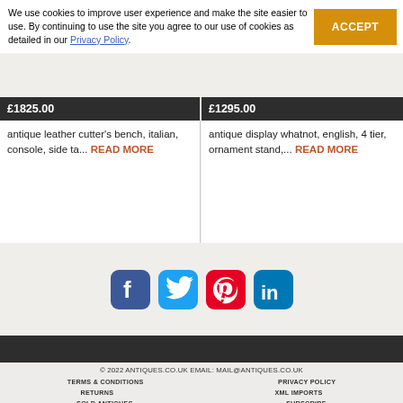We use cookies to improve user experience and make the site easier to use. By continuing to use the site you agree to our use of cookies as detailed in our Privacy Policy.
ACCEPT
£1825.00
£1295.00
antique leather cutter's bench, italian, console, side ta... READ MORE
antique display whatnot, english, 4 tier, ornament stand,... READ MORE
[Figure (logo): Social media icons: Facebook, Twitter, Pinterest, LinkedIn]
© 2022 ANTIQUES.CO.UK EMAIL: MAIL@ANTIQUES.CO.UK
TERMS & CONDITIONS
PRIVACY POLICY
RETURNS
XML IMPORTS
SOLD ANTIQUES
SUBSCRIBE
NEWSLETTER ARCHIVE